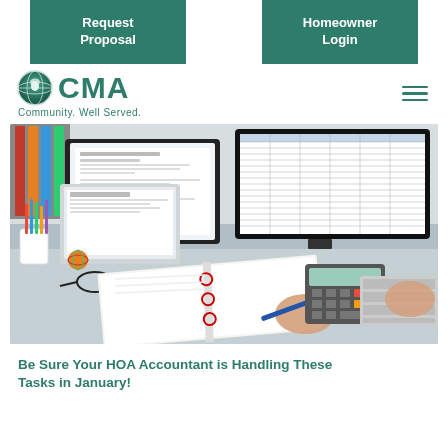Request Proposal
Homeowner Login
[Figure (logo): CMA Community Well Served logo with teal acorn/globe icon and teal text]
[Figure (photo): Person at desk using calculator and writing notes, with laptop and monitors showing spreadsheets in background, pencils in cup, glasses, binder on desk]
Be Sure Your HOA Accountant is Handling These Tasks in January!